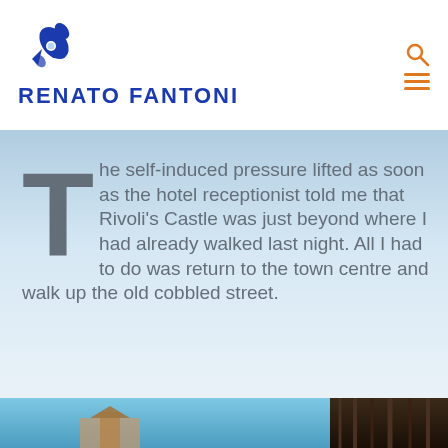RENATO FANTONI
The self-induced pressure lifted as soon as the hotel receptionist told me that Rivoli’s Castle was just beyond where I had already walked last night. All I had to do was return to the town centre and walk up the old cobbled street.
[Figure (photo): Bottom strip showing a building under blue sky on the left and dark vertical structures on the right]